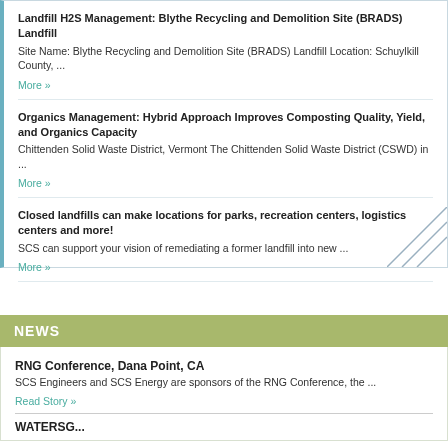Landfill H2S Management: Blythe Recycling and Demolition Site (BRADS) Landfill
Site Name: Blythe Recycling and Demolition Site (BRADS) Landfill Location: Schuylkill County, ...
More »
Organics Management: Hybrid Approach Improves Composting Quality, Yield, and Organics Capacity
Chittenden Solid Waste District, Vermont The Chittenden Solid Waste District (CSWD) in ...
More »
Closed landfills can make locations for parks, recreation centers, logistics centers and more!
SCS can support your vision of remediating a former landfill into new ...
More »
NEWS
RNG Conference, Dana Point, CA
SCS Engineers and SCS Energy are sponsors of the RNG Conference, the ...
Read Story »
WATERSG...